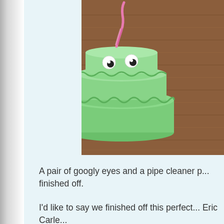[Figure (photo): A green fondant or clay cake decorated with googly eyes and a pink pipe cleaner, sitting on a wooden surface. The photo is cropped, showing the right portion of the cake on a brown wood-grain background.]
A pair of googly eyes and a pipe cleaner p... finished off.
I'd like to say we finished off this perfect... Eric Carle...